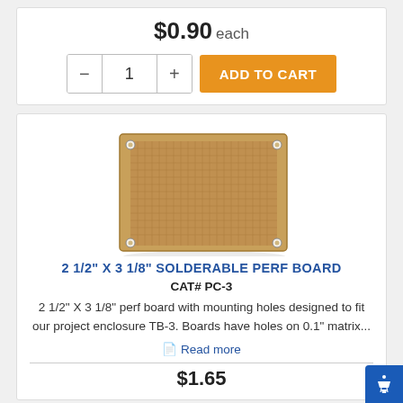$0.90 each
[Figure (screenshot): Add to cart control with minus button, quantity field showing 1, plus button, and orange ADD TO CART button]
[Figure (photo): Photo of a tan/gold colored solderable perf board (perforated circuit board) with mounting holes at corners]
2 1/2" X 3 1/8" SOLDERABLE PERF BOARD
CAT# PC-3
2 1/2" X 3 1/8" perf board with mounting holes designed to fit our project enclosure TB-3. Boards have holes on 0.1" matrix...
Read more
$1.65